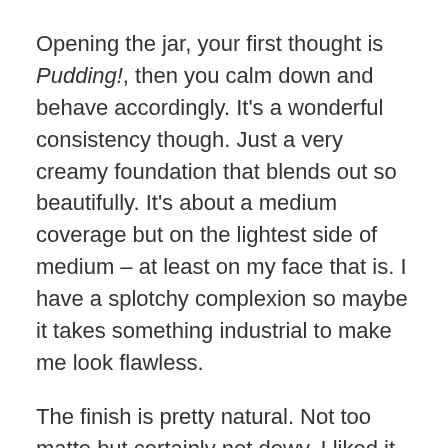Opening the jar, your first thought is Pudding!, then you calm down and behave accordingly. It's a wonderful consistency though. Just a very creamy foundation that blends out so beautifully. It's about a medium coverage but on the lightest side of medium – at least on my face that is. I have a splotchy complexion so maybe it takes something industrial to make me look flawless.
The finish is pretty natural. Not too matte but certainly not dewy. I liked it very much. However I wasn't blinded by my own beauty or anything so it doesn't compare to my beloved Giorgio or even the matte gorgeousness of the Rimmel. But I don't regret purchasing it even though it was pretty pricey.
Last newbie is this tube of L'Oreal Visible Lift blur